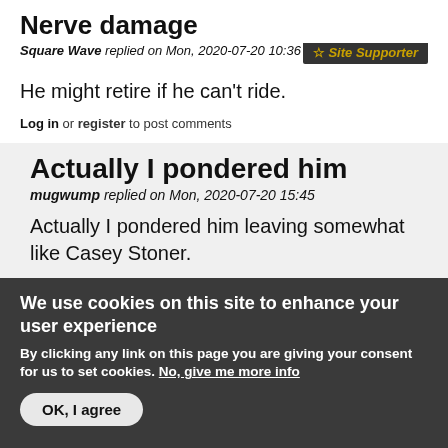Nerve damage
Square Wave replied on Mon, 2020-07-20 10:36
Site Supporter
He might retire if he can't ride.
Log in or register to post comments
Actually I pondered him
mugwump replied on Mon, 2020-07-20 15:45
Actually I pondered him leaving somewhat like Casey Stoner.
We use cookies on this site to enhance your user experience
By clicking any link on this page you are giving your consent for us to set cookies. No, give me more info
OK, I agree